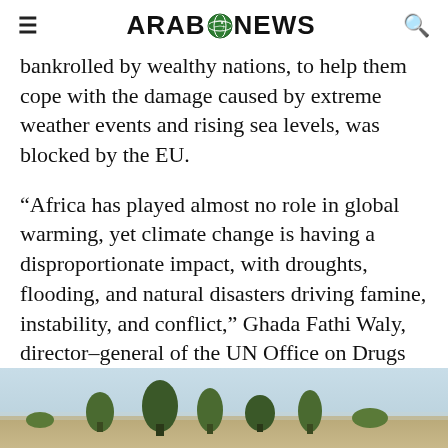Arab News
bankrolled by wealthy nations, to help them cope with the damage caused by extreme weather events and rising sea levels, was blocked by the EU.
“Africa has played almost no role in global warming, yet climate change is having a disproportionate impact, with droughts, flooding, and natural disasters driving famine, instability, and conflict,” Ghada Fathi Waly, director-general of the UN Office on Drugs and Crime, told delegates at the Aswan Forum in Cairo in June.
[Figure (photo): Outdoor landscape photo with blue sky and trees/vegetation silhouetted against the horizon]